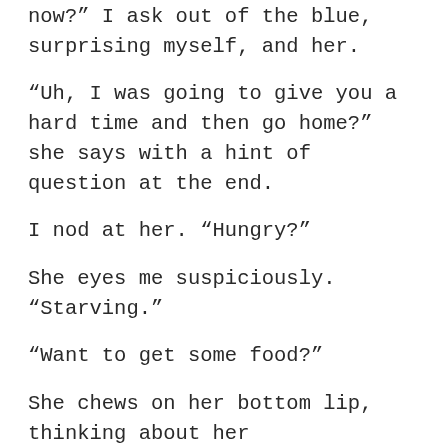What are you doing right now?” I ask out of the blue, surprising myself, and her.
“Uh, I was going to give you a hard time and then go home?” she says with a hint of question at the end.
I nod at her. “Hungry?”
She eyes me suspiciously. “Starving.”
“Want to get some food?”
She chews on her bottom lip, thinking about her answer, and I love it for a